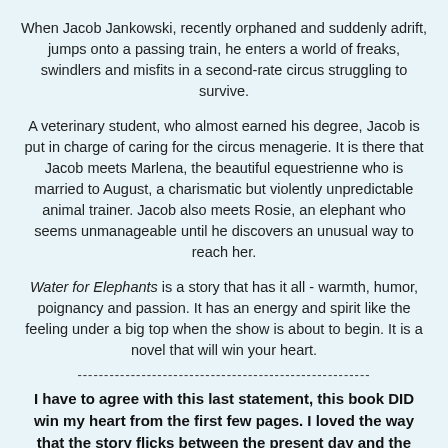When Jacob Jankowski, recently orphaned and suddenly adrift, jumps onto a passing train, he enters a world of freaks, swindlers and misfits in a second-rate circus struggling to survive.
A veterinary student, who almost earned his degree, Jacob is put in charge of caring for the circus menagerie. It is there that Jacob meets Marlena, the beautiful equestrienne who is married to August, a charismatic but violently unpredictable animal trainer. Jacob also meets Rosie, an elephant who seems unmanageable until he discovers an unusual way to reach her.
Water for Elephants is a story that has it all - warmth, humor, poignancy and passion. It has an energy and spirit like the feeling under a big top when the show is about to begin. It is a novel that will win your heart.
-------------------------------------------------------
I have to agree with this last statement, this book DID win my heart from the first few pages. I loved the way that the story flicks between the present day and the